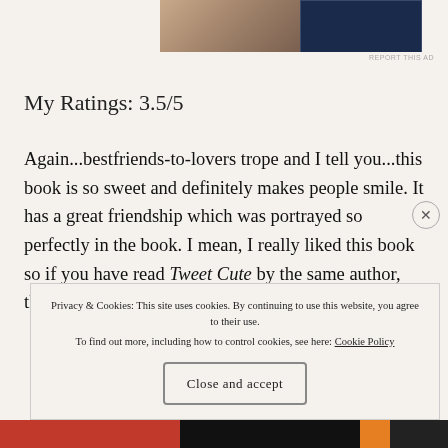[Figure (photo): Partial advertisement image strip at top of page showing a person on the left and a dark navy banner on the right]
REPORT THIS AD
My Ratings: 3.5/5
Again...bestfriends-to-lovers trope and I tell you...this book is so sweet and definitely makes people smile. It has a great friendship which was portrayed so perfectly in the book. I mean, I really liked this book so if you have read Tweet Cute by the same author, then this is definitely for you!
Privacy & Cookies: This site uses cookies. By continuing to use this website, you agree to their use.
To find out more, including how to control cookies, see here: Cookie Policy
Close and accept